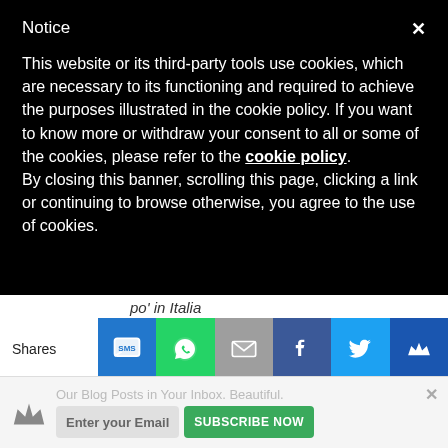Notice
This website or its third-party tools use cookies, which are necessary to its functioning and required to achieve the purposes illustrated in the cookie policy. If you want to know more or withdraw your consent to all or some of the cookies, please refer to the cookie policy.
By closing this banner, scrolling this page, clicking a link or continuing to browse otherwise, you agree to the use of cookies.
po' in Italia
Shares
★★★★★  Jan 29, 2021 by Alice
Nation: Australia
Our Blog Posts in Your Inbox. Beautiful.
Enter your Email   SUBSCRIBE NOW